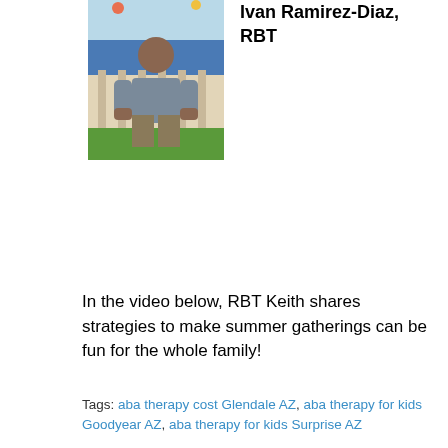[Figure (photo): Portrait photo of Ivan Ramirez-Diaz, RBT, a man standing in front of a colorful painted background with clouds and grass.]
Ivan Ramirez-Diaz, RBT
In the video below, RBT Keith shares strategies to make summer gatherings can be fun for the whole family!
Tags: aba therapy cost Glendale AZ, aba therapy for kids Goodyear AZ, aba therapy for kids Surprise AZ